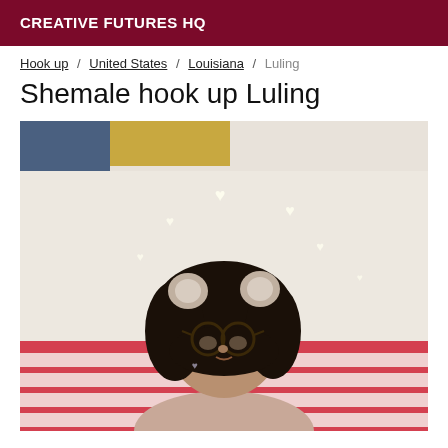CREATIVE FUTURES HQ
Hook up / United States / Louisiana / Luling
Shemale hook up Luling
[Figure (photo): Photo of a person with dark curly hair, glasses, and bear ear filter/accessories, sitting on a bed with red and white striped bedding, with heart-shaped bokeh lights in the background]